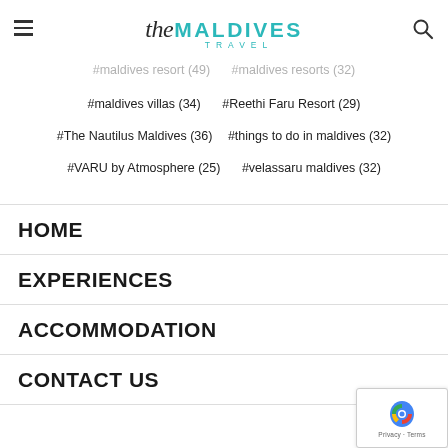The Maldives Travel
#maldives resort (49)   #maldives resorts (32)
#maldives villas (34)   #Reethi Faru Resort (29)
#The Nautilus Maldives (36)   #things to do in maldives (32)
#VARU by Atmosphere (25)   #velassaru maldives (32)
HOME
EXPERIENCES
ACCOMMODATION
CONTACT US